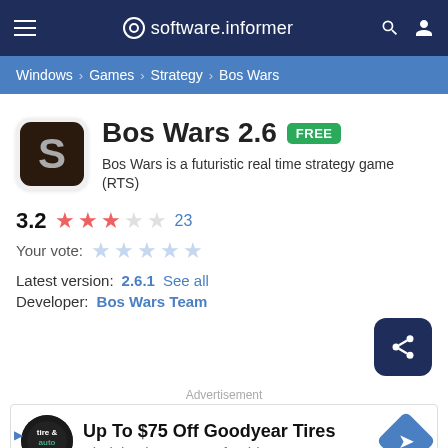software.informer
Windows › Games › Strategy › Bos Wars
Bos Wars 2.6  FREE
Bos Wars is a futuristic real time strategy game (RTS)
3.2  ★★★☆☆  23
Your vote:
Latest version:  2.6.1  See all
Developer:  Bos Wars Team
Advertisement
Up To $75 Off Goodyear Tires
Virginia Tire & Auto of Ashburn Far...